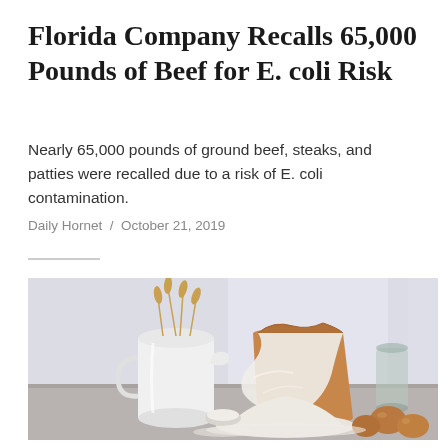Florida Company Recalls 65,000 Pounds of Beef for E. coli Risk
Nearly 65,000 pounds of ground beef, steaks, and patties were recalled due to a risk of E. coli contamination.
Daily Hornet  /  October 21, 2019
[Figure (photo): A kitchen scene with a white ceramic pitcher containing wheat stalks, a brown paper bag filled with white flour spilling open, a small dish with flour, and several brown eggs, set on a grey surface with a white curtained window in the background.]